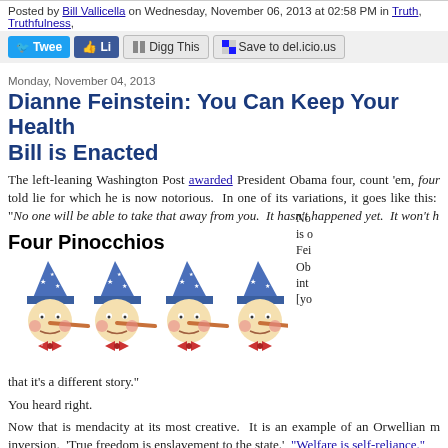Posted by Bill Vallicella on Wednesday, November 06, 2013 at 02:58 PM in Truth, Truthfulness,
[Figure (screenshot): Social sharing buttons: Twitter Tweet, Facebook Like, Digg This, Save to del.icio.us]
Monday, November 04, 2013
Dianne Feinstein: You Can Keep Your Health Bill is Enacted
The left-leaning Washington Post awarded President Obama four, count 'em, four told lie for which he is now notorious. In one of its variations, it goes like this: “ No one will be able to take that away from you. It hasn’t happened yet. It won’t h
Four Pinocchios
[Figure (illustration): Four Pinocchio cartoon figures with long noses, blue starred hats, and red bow ties, arranged in a row.]
that it's a different story."
You heard right.
Now that is mendacity at its most creative. It is an example of an Orwellian m inversion. 'True freedom is enslavement to the state.' "Welfare is self-reliance."
And Feinstein's "Obamacare law will allow you to keep your doctor and health pl